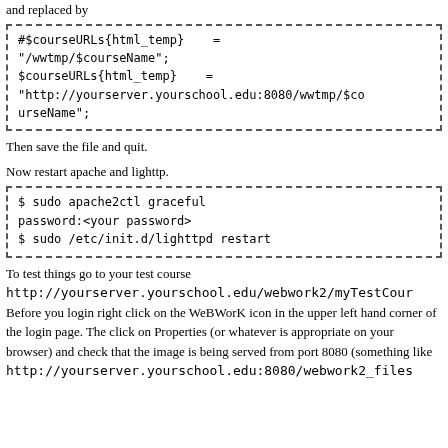and replaced by
[Figure (screenshot): Code box with dashed border containing: #$courseURLs{html_temp} = "/wwtmp/$courseName"; $courseURLs{html_temp} = "http://yourserver.yourschool.edu:8080/wwtmp/$courseName";]
Then save the file and quit.
Now restart apache and lighttp.
[Figure (screenshot): Code box with dashed border containing: $ sudo apache2ctl graceful
password:<your password>
$ sudo /etc/init.d/lighttpd restart]
To test things go to your test course
http://yourserver.yourschool.edu/webwork2/myTestCour
Before you login right click on the WeBWorK icon in the upper left hand corner of the login page. The click on Properties (or whatever is appropriate on your browser) and check that the image is being served from port 8080 (something like
http://yourserver.yourschool.edu:8080/webwork2_files